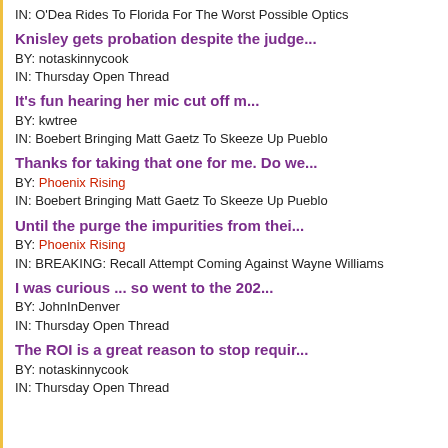IN: O'Dea Rides To Florida For The Worst Possible Optics
Knisley gets probation despite the judge...
BY: notaskinnycook
IN: Thursday Open Thread
It's fun hearing her mic cut off m...
BY: kwtree
IN: Boebert Bringing Matt Gaetz To Skeeze Up Pueblo
Thanks for taking that one for me. Do we...
BY: Phoenix Rising
IN: Boebert Bringing Matt Gaetz To Skeeze Up Pueblo
Until the purge the impurities from thei...
BY: Phoenix Rising
IN: BREAKING: Recall Attempt Coming Against Wayne Williams
I was curious ... so went to the 202...
BY: JohnInDenver
IN: Thursday Open Thread
The ROI is a great reason to stop requir...
BY: notaskinnycook
IN: Thursday Open Thread